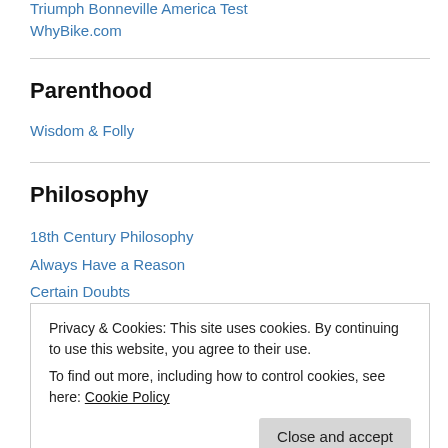Triumph Bonneville America Test
WhyBike.com
Parenthood
Wisdom & Folly
Philosophy
18th Century Philosophy
Always Have a Reason
Certain Doubts
Privacy & Cookies: This site uses cookies. By continuing to use this website, you agree to their use.
To find out more, including how to control cookies, see here: Cookie Policy